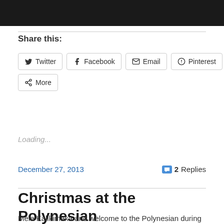[Figure (screenshot): Screenshot of a web browser or app interface with dark/black background bar at top]
Share this:
Twitter
Facebook
Email
Pinterest
Print
More
Loading...
December 27, 2013
2 Replies
Christmas at the Polynesian
Mele Kalikimaka and welcome to the Polynesian during the holid...